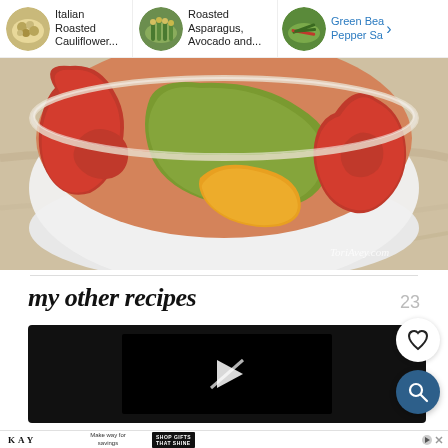[Figure (screenshot): Navigation bar with three recipe thumbnail links: 'Italian Roasted Cauliflower...', 'Roasted Asparagus, Avocado and...', 'Green Bea[n] Pepper Sa[lad]' with a right arrow]
[Figure (photo): A white bowl filled with roasted bell peppers in red, green/yellow and orange colors on a marble surface. Watermark reads ToriAvey.com]
my other recipes
23
[Figure (screenshot): Dark recipe card with a video player showing a play button]
[Figure (screenshot): KAY Jewelers advertisement: 'Make way for savings' with 'SHOP GIFTS THAT SHINE' button]
[Figure (infographic): White heart/favorite button (circular) and dark blue search button (circular) on the right side]